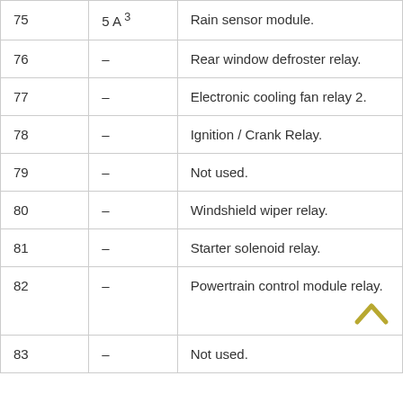| Number | Rating | Description |
| --- | --- | --- |
| 75 | 5 A 3 | Rain sensor module. |
| 76 | – | Rear window defroster relay. |
| 77 | – | Electronic cooling fan relay 2. |
| 78 | – | Ignition / Crank Relay. |
| 79 | – | Not used. |
| 80 | – | Windshield wiper relay. |
| 81 | – | Starter solenoid relay. |
| 82 | – | Powertrain control module relay. |
| 83 | – | Not used. |